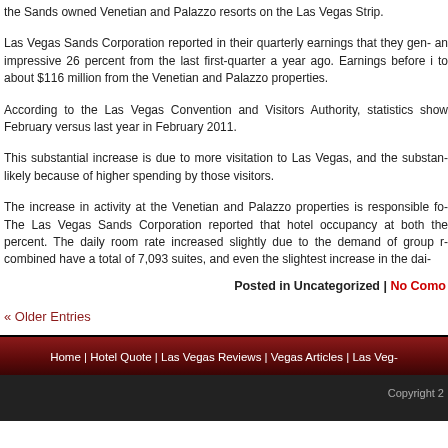the Sands owned Venetian and Palazzo resorts on the Las Vegas Strip.
Las Vegas Sands Corporation reported in their quarterly earnings that they gen- an impressive 26 percent from the last first-quarter a year ago. Earnings before i to about $116 million from the Venetian and Palazzo properties.
According to the Las Vegas Convention and Visitors Authority, statistics show February versus last year in February 2011.
This substantial increase is due to more visitation to Las Vegas, and the substan- likely because of higher spending by those visitors.
The increase in activity at the Venetian and Palazzo properties is responsible fo- The Las Vegas Sands Corporation reported that hotel occupancy at both the percent. The daily room rate increased slightly due to the demand of group r- combined have a total of 7,093 suites, and even the slightest increase in the dai-
Posted in Uncategorized | No Como
« Older Entries
Home | Hotel Quote | Las Vegas Reviews | Vegas Articles | Las Veg-
Copyright 2